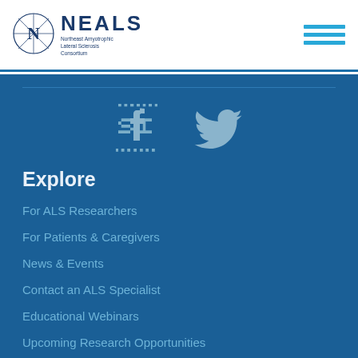NEALS Northeast Amyotrophic Lateral Sclerosis Consortium
[Figure (logo): NEALS compass rose logo with N inside]
[Figure (infographic): Facebook and Twitter social media icons]
Explore
For ALS Researchers
For Patients & Caregivers
News & Events
Contact an ALS Specialist
Educational Webinars
Upcoming Research Opportunities